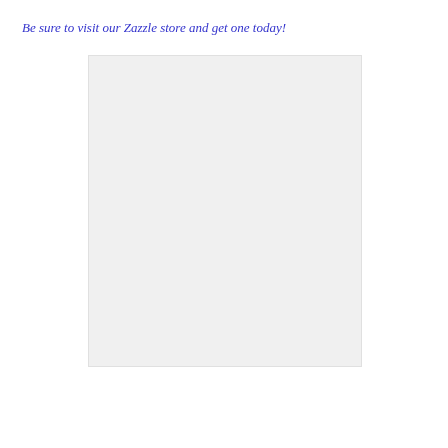Be sure to visit our Zazzle store and get one today!
[Figure (other): A blank or white rectangular image placeholder, approximately square, with a light gray background and subtle border.]